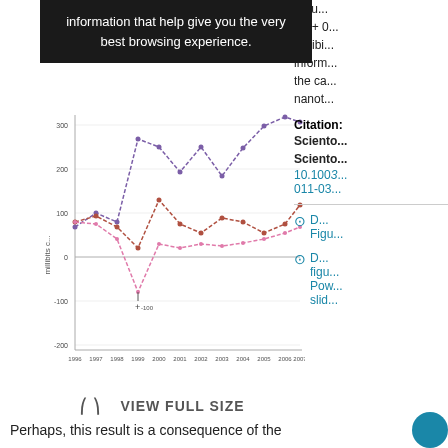information that help give you the very best browsing experience.
[Figure (line-chart): Multi-line chart showing values in millibits from 1996 to 2007, with multiple series including dashed lines. Values range from about -200 to 350 millibits.]
VIEW FULL SIZE
redu... (=/ + 0... millibi... inform... the ca... nanot...
Citation: Sciento... Sciento... 10.1003... 011-03...
D... Figu...
D... figu... Pow... slid...
Perhaps, this result is a consequence of the